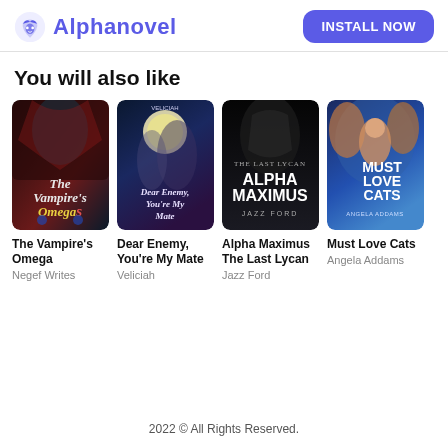Alphanovel  INSTALL NOW
You will also like
[Figure (illustration): Book cover: The Vampire's Omega - dark fantasy with vampire figure]
The Vampire's Omega
Negef Writes
[Figure (illustration): Book cover: Dear Enemy, You're My Mate - fantasy romance with moonlit couple]
Dear Enemy, You're My Mate
Veliciah
[Figure (illustration): Book cover: Alpha Maximus The Last Lycan - dark fantasy with hooded figure]
Alpha Maximus The Last Lycan
Jazz Ford
[Figure (illustration): Book cover: Must Love Cats - fantasy romance with woman and men]
Must Love Cats
Angela Addams
2022 © All Rights Reserved.